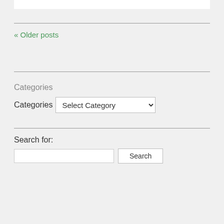[Figure (screenshot): White content box at top of page]
« Older posts
Categories
Categories  Select Category
Search for:
[Figure (screenshot): Search input field and Search button]